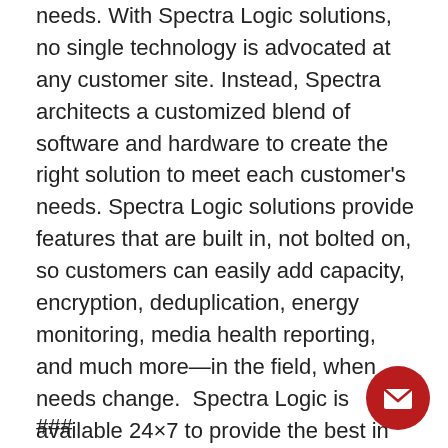needs. With Spectra Logic solutions, no single technology is advocated at any customer site. Instead, Spectra architects a customized blend of software and hardware to create the right solution to meet each customer's needs. Spectra Logic solutions provide features that are built in, not bolted on, so customers can easily add capacity, encryption, deduplication, energy monitoring, media health reporting, and much more—in the field, when needs change. Spectra Logic is available 24×7 to provide the best in support, worldwide. Spectra Logic's corporate headquarters and US-based manufacturing has been located in Boulder, Colorado since the company's founding in 1979.
###